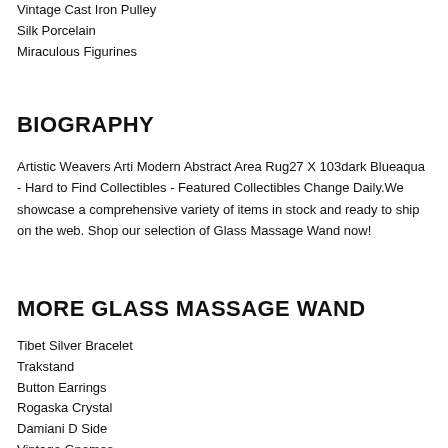Vintage Cast Iron Pulley
Silk Porcelain
Miraculous Figurines
BIOGRAPHY
Artistic Weavers Arti Modern Abstract Area Rug27 X 103dark Blueaqua - Hard to Find Collectibles - Featured Collectibles Change Daily.We showcase a comprehensive variety of items in stock and ready to ship on the web. Shop our selection of Glass Massage Wand now!
MORE GLASS MASSAGE WAND
Tibet Silver Bracelet
Trakstand
Button Earrings
Rogaska Crystal
Damiani D Side
Vintage Gnomes
Holiday 3x